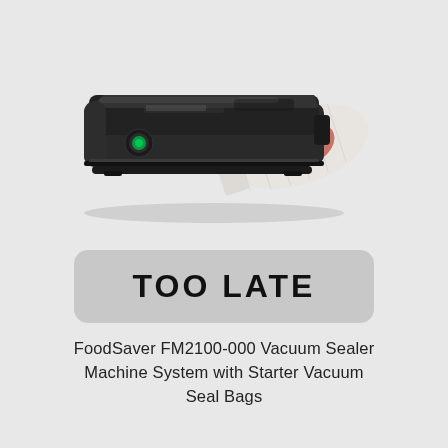[Figure (photo): A black FoodSaver FM2100-000 vacuum sealer machine photographed at an angle, with a clear vacuum seal bag containing a piece of raw meat extending from the front of the machine. The machine has a green circular indicator light on its front face.]
TOO LATE
FoodSaver FM2100-000 Vacuum Sealer Machine System with Starter Vacuum Seal Bags